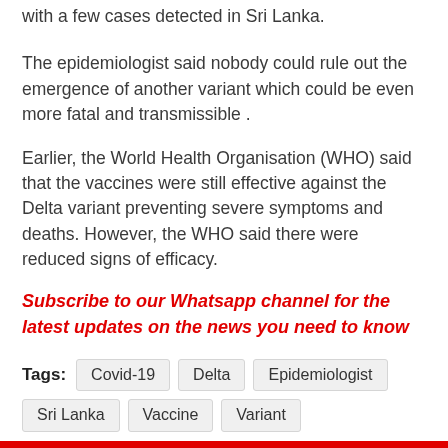with a few cases detected in Sri Lanka.
The epidemiologist said nobody could rule out the emergence of another variant which could be even more fatal and transmissible .
Earlier, the World Health Organisation (WHO) said that the vaccines were still effective against the Delta variant preventing severe symptoms and deaths. However, the WHO said there were reduced signs of efficacy.
Subscribe to our Whatsapp channel for the latest updates on the news you need to know
Tags: Covid-19  Delta  Epidemiologist  Sri Lanka  Vaccine  Variant